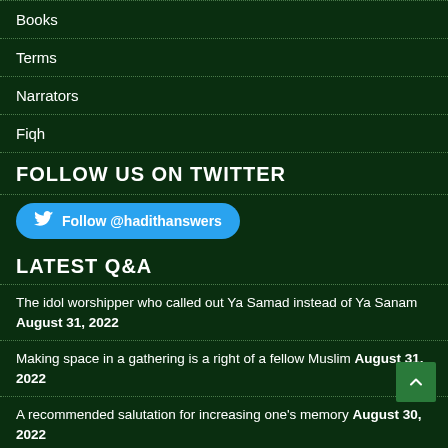Books
Terms
Narrators
Fiqh
FOLLOW US ON TWITTER
[Figure (other): Twitter follow button linking to @hadithanswers]
LATEST Q&A
The idol worshipper who called out Ya Samad instead of Ya Sanam August 31, 2022
Making space in a gathering is a right of a fellow Muslim August 31, 2022
A recommended salutation for increasing one's memory August 30, 2022
Abu Musa Al 'Ashari (radiyallahu 'anhu) and others receive